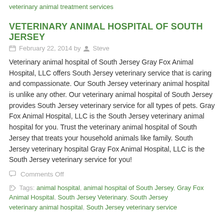veterinary animal treatment services
VETERINARY ANIMAL HOSPITAL OF SOUTH JERSEY
February 22, 2014 by Steve
Veterinary animal hospital of South Jersey Gray Fox Animal Hospital, LLC offers South Jersey veterinary service that is caring and compassionate. Our South Jersey veterinary animal hospital is unlike any other. Our veterinary animal hospital of South Jersey provides South Jersey veterinary service for all types of pets. Gray Fox Animal Hospital, LLC is the South Jersey veterinary animal hospital for you. Trust the veterinary animal hospital of South Jersey that treats your household animals like family. South Jersey veterinary hospital Gray Fox Animal Hospital, LLC is the South Jersey veterinary service for you!
Comments Off
Tags: animal hospital, animal hospital of South Jersey, Gray Fox Animal Hospital, South Jersey Veterinary, South Jersey veterinary animal hospital, South Jersey veterinary service